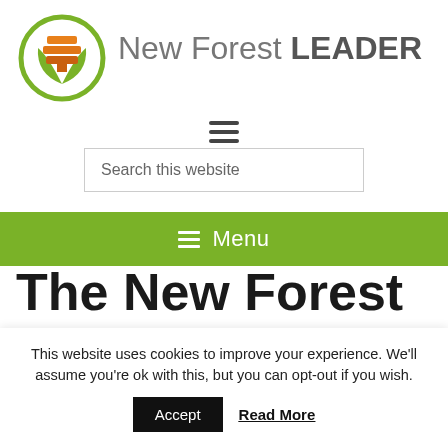[Figure (logo): New Forest LEADER logo: circular green border with an orange/brown segmented tree/leaf shape inside, resembling a globe with a tree silhouette]
New Forest LEADER
[Figure (infographic): Hamburger menu icon (three horizontal lines)]
Search this website
≡ Menu
The New Forest
This website uses cookies to improve your experience. We'll assume you're ok with this, but you can opt-out if you wish.
Accept   Read More